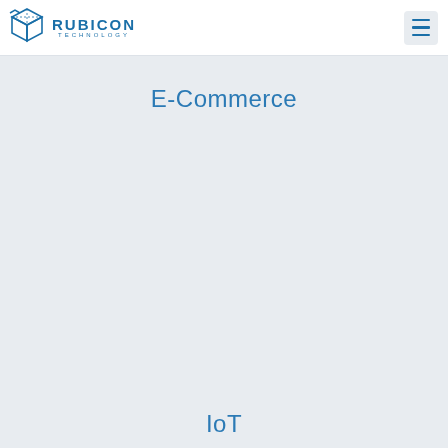RUBICON TECHNOLOGY
E-Commerce
IoT